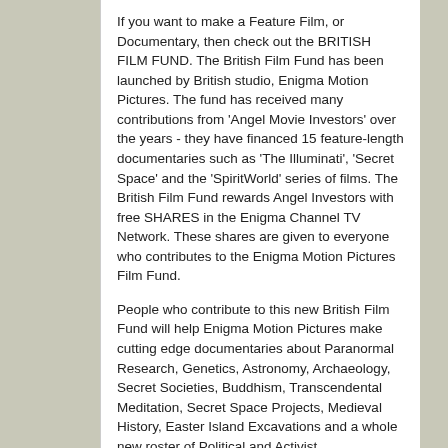If you want to make a Feature Film, or Documentary, then check out the BRITISH FILM FUND. The British Film Fund has been launched by British studio, Enigma Motion Pictures. The fund has received many contributions from 'Angel Movie Investors' over the years - they have financed 15 feature-length documentaries such as 'The Illuminati', 'Secret Space' and the 'SpiritWorld' series of films. The British Film Fund rewards Angel Investors with free SHARES in the Enigma Channel TV Network. These shares are given to everyone who contributes to the Enigma Motion Pictures Film Fund.
People who contribute to this new British Film Fund will help Enigma Motion Pictures make cutting edge documentaries about Paranormal Research, Genetics, Astronomy, Archaeology, Secret Societies, Buddhism, Transcendental Meditation, Secret Space Projects, Medieval History, Easter Island Excavations and a whole new roster of Political and Activist documentaries...
You can read more about it here - follow the link: